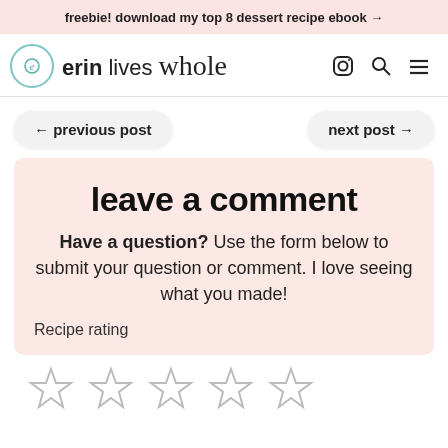freebie! download my top 8 dessert recipe ebook →
[Figure (logo): Erin Lives Whole logo with circular icon and text]
← previous post
next post →
leave a comment
Have a question? Use the form below to submit your question or comment. I love seeing what you made!
Recipe rating
[Figure (illustration): Five empty star rating icons]